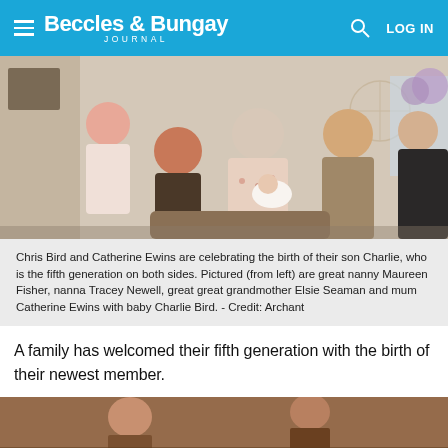Beccles & Bungay Journal — LOG IN
[Figure (photo): Group photo of four women (great nanny Maureen Fisher, nanna Tracey Newell, great great grandmother Elsie Seaman holding baby Charlie Bird, and mum Catherine Ewins) sitting/standing together indoors.]
Chris Bird and Catherine Ewins are celebrating the birth of their son Charlie, who is the fifth generation on both sides. Pictured (from left) are great nanny Maureen Fisher, nanna Tracey Newell, great great grandmother Elsie Seaman and mum Catherine Ewins with baby Charlie Bird. - Credit: Archant
A family has welcomed their fifth generation with the birth of their newest member.
[Figure (photo): Partial bottom photo, appears to show people indoors, cropped at the bottom of the page.]